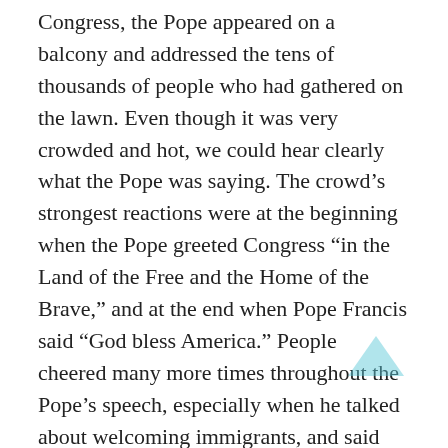Congress, the Pope appeared on a balcony and addressed the tens of thousands of people who had gathered on the lawn. Even though it was very crowded and hot, we could hear clearly what the Pope was saying. The crowd’s strongest reactions were at the beginning when the Pope greeted Congress “in the Land of the Free and the Home of the Brave,” and at the end when Pope Francis said “God bless America.” People cheered many more times throughout the Pope’s speech, especially when he talked about welcoming immigrants, and said that this speech was a “dialogue with the many thousands of men and women who strive each day to do an honest day’s work, to bring home their daily bread, to save money and – one step at a time – to build a better life for their families,” and finally when he reminded his audience of the Golden Rule “Do unto others as you would have them do unto you” (Mt 7:12). Hearing and